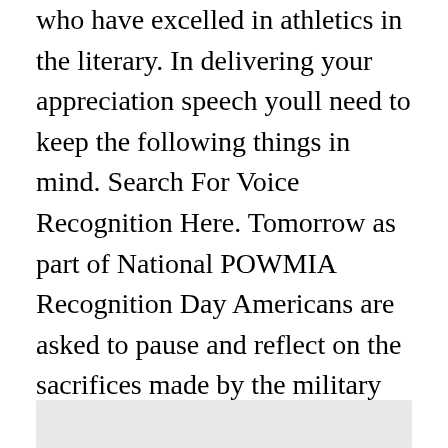who have excelled in athletics in the literary. In delivering your appreciation speech youll need to keep the following things in mind. Search For Voice Recognition Here. Tomorrow as part of National POWMIA Recognition Day Americans are asked to pause and reflect on the sacrifices made by the military men and women who are imprisoned or unaccounted for as a result of their military service.